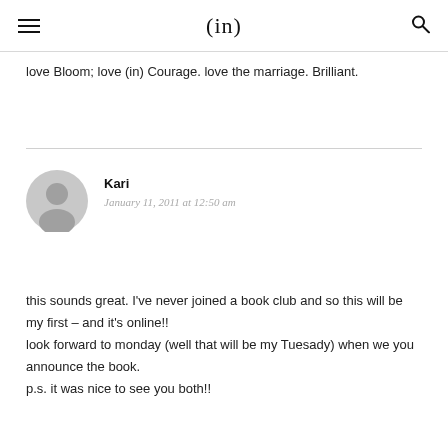(in)
love Bloom; love (in) Courage. love the marriage. Brilliant.
Kari
January 11, 2011 at 12:50 am
this sounds great. I've never joined a book club and so this will be my first – and it's online!!
look forward to monday (well that will be my Tuesady) when we you announce the book.
p.s. it was nice to see you both!!